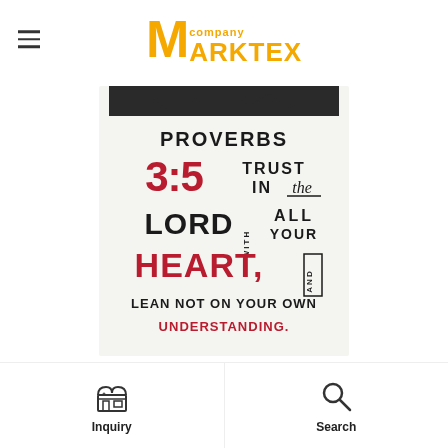Marktex Company
[Figure (photo): A decorative typographic print showing the Bible verse Proverbs 3:5 - Trust in the Lord with all your heart, and lean not on your own understanding. Text is in black and red on white background with mixed font styles.]
Inquiry
Search